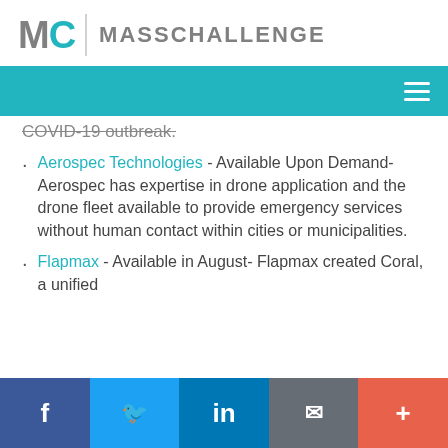MC MASSCHALLENGE
COVID-19 outbreak.
Aerospec Technologies - Available Upon Demand- Aerospec has expertise in drone application and the drone fleet available to provide emergency services without human contact within cities or municipalities.
Flapmax - Available in August- Flapmax created Coral, a unified